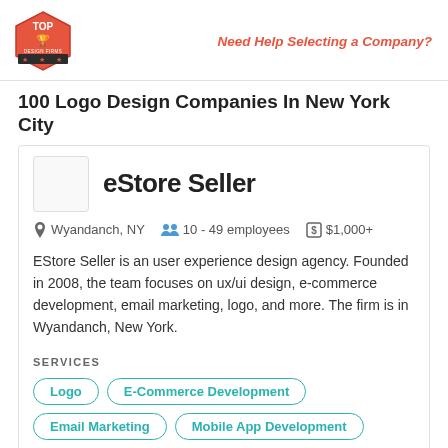Top Design Firms logo | Need Help Selecting a Company?
100 Logo Design Companies In New York City
eStore Seller
Wyandanch, NY   10 - 49 employees   $1,000+
EStore Seller is an user experience design agency. Founded in 2008, the team focuses on ux/ui design, e-commerce development, email marketing, logo, and more. The firm is in Wyandanch, New York.
SERVICES
Logo
E-Commerce Development
Email Marketing
Mobile App Development
Pay Per Click